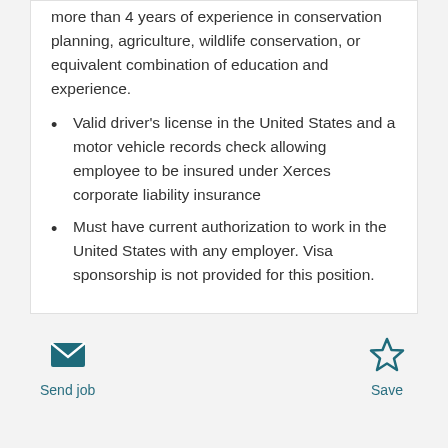more than 4 years of experience in conservation planning, agriculture, wildlife conservation, or equivalent combination of education and experience.
Valid driver's license in the United States and a motor vehicle records check allowing employee to be insured under Xerces corporate liability insurance
Must have current authorization to work in the United States with any employer. Visa sponsorship is not provided for this position.
Send job  Save